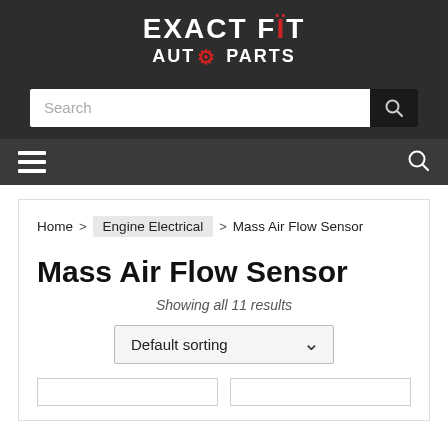[Figure (logo): Exact Fit Auto Parts logo on dark background]
[Figure (screenshot): Search bar with text input and search icon button on dark background]
[Figure (screenshot): Mobile navigation bar with hamburger menu and search icon]
Home > Engine Electrical > Mass Air Flow Sensor
Mass Air Flow Sensor
Showing all 11 results
Default sorting